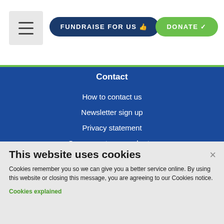FUNDRAISE FOR US | DONATE
Contact
How to contact us
Newsletter sign up
Privacy statement
Our supporter care charter
Our fundraising promise
Our complaints and feedback policy
CONTACT US
0300 7701369
This website uses cookies
Cookies remember you so we can give you a better service online. By using this website or closing this message, you are agreeing to our Cookies notice.
Cookies explained